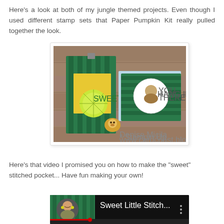Here's a look at both of my jungle themed projects. Even though I used different stamp sets that Paper Pumpkin Kit really pulled together the look.
[Figure (photo): Two green and yellow striped jungle-themed handmade cards displayed on a wooden surface, with a small lion embellishment. The left card has a yellow banner with a citrus slice and 'SWEET' text; the right card features a circular sloth stamp image.]
Here's that video I promised you on how to make the "sweet" stitched pocket... Have fun making your own!
[Figure (screenshot): YouTube video thumbnail showing a woman smiling, with the title 'Sweet Little Stitch...' and a menu icon visible.]